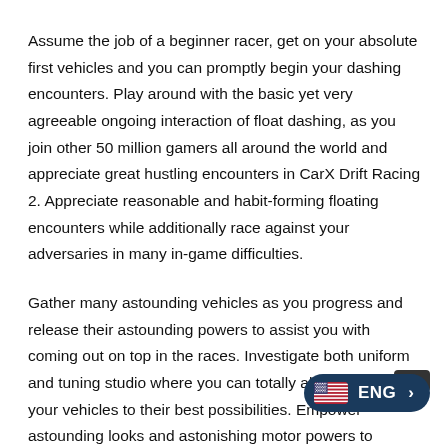Assume the job of a beginner racer, get on your absolute first vehicles and you can promptly begin your dashing encounters. Play around with the basic yet very agreeable ongoing interaction of float dashing, as you join other 50 million gamers all around the world and appreciate great hustling encounters in CarX Drift Racing 2. Appreciate reasonable and habit-forming floating encounters while additionally race against your adversaries in many in-game difficulties.
Gather many astounding vehicles as you progress and release their astounding powers to assist you with coming out on top in the races. Investigate both uniform and tuning studio where you can totally alter and arrange your vehicles to their best possibilities. Empower astounding looks and astonishing motor powers to additionally partake in your vehicle floating difficulties.
Furthermore, in particular, there will be various game modes and